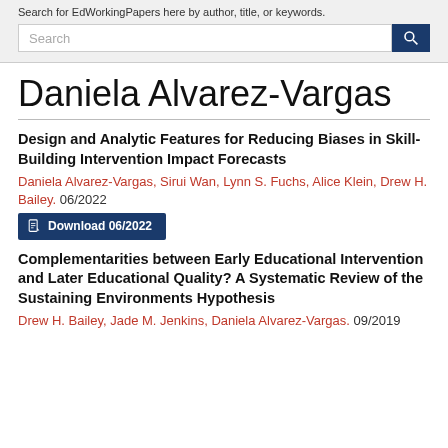Search for EdWorkingPapers here by author, title, or keywords.
Search
Daniela Alvarez-Vargas
Design and Analytic Features for Reducing Biases in Skill-Building Intervention Impact Forecasts
Daniela Alvarez-Vargas, Sirui Wan, Lynn S. Fuchs, Alice Klein, Drew H. Bailey. 06/2022
Download 06/2022
Complementarities between Early Educational Intervention and Later Educational Quality? A Systematic Review of the Sustaining Environments Hypothesis
Drew H. Bailey, Jade M. Jenkins, Daniela Alvarez-Vargas. 09/2019